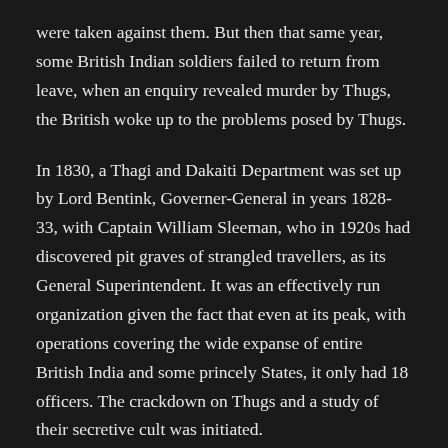were taken against them. But then that same year, some British Indian soldiers failed to return from leave, when an enquiry revealed murder by Thugs, the British woke up to the problems posed by Thugs.
In 1830, a Thagi and Dakaiti Department was set up by Lord Bentink, Governer-General in years 1828-33, with Captain William Sleeman, who in 1920s had discovered pit graves of strangled travellers, as its General Superintendent. It was an effectively run organization given the fact that even at its peak, with operations covering the wide expanse of entire British India and some princely States, it only had 18 officers. The crackdown on Thugs and a study of their secretive cult was initiated.
It's first success, capture of a infamous Thug known as